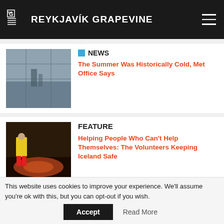THE REYKJAVÍK GRAPEVINE
NEWS — The Summer Was Historically Cold, Met Office Says
FEATURE — Helping People Who Can't Help Themselves: The Volunteers Keeping Iceland Safe
ARTICLES — Perfect Day: Aurore Pélier Cady
NEWS (partial)
This website uses cookies to improve your experience. We'll assume you're ok with this, but you can opt-out if you wish. Accept  Read More